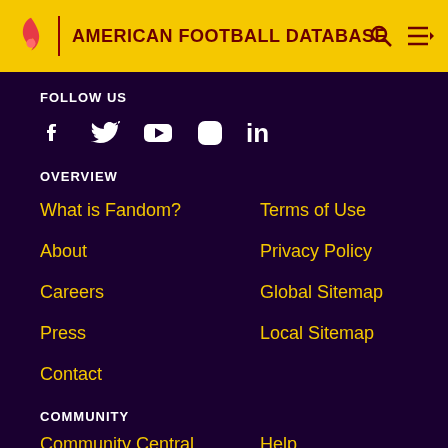AMERICAN FOOTBALL DATABASE
FOLLOW US
[Figure (infographic): Social media icons: Facebook, Twitter, YouTube, Instagram, LinkedIn]
OVERVIEW
What is Fandom?
Terms of Use
About
Privacy Policy
Careers
Global Sitemap
Press
Local Sitemap
Contact
COMMUNITY
Community Central
Help